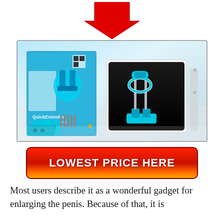[Figure (illustration): Large red downward-pointing arrow above a product image of Quick Extender Pro device and packaging]
[Figure (photo): Product photo of QuickExtender Pro device shown in its case alongside packaging box and accessories on a white surface]
[Figure (other): Red gradient button with white bold text reading LOWEST PRICE HERE]
Most users describe it as a wonderful gadget for enlarging the penis. Because of that, it is